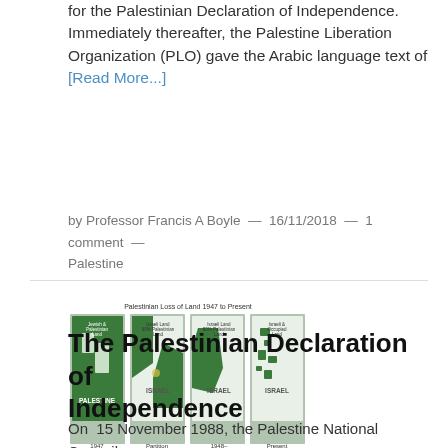for the Palestinian Declaration of Independence. Immediately thereafter, the Palestine Liberation Organization (PLO) gave the Arabic language text of [Read More...]
by Professor Francis A Boyle — 16/11/2018 — 1 comment — Palestine
[Figure (map): Palestinian Loss of Land 1947 to Present — four maps showing Palestinian and Israeli land distribution from 1947, Partition Plan 1947, 1948-1967, and Present]
The Palestinian Declaration of Independence
On 15 November 1988, the Palestine National Council